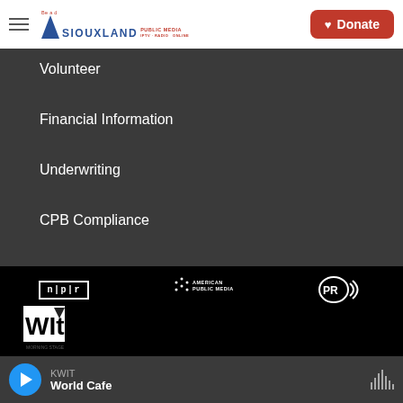[Figure (logo): Siouxland Public Media logo with hamburger menu and Donate button]
Volunteer
Financial Information
Underwriting
CPB Compliance
[Figure (logo): Partner logos: NPR, American Public Media, PRX, WIT]
KWIT
World Cafe